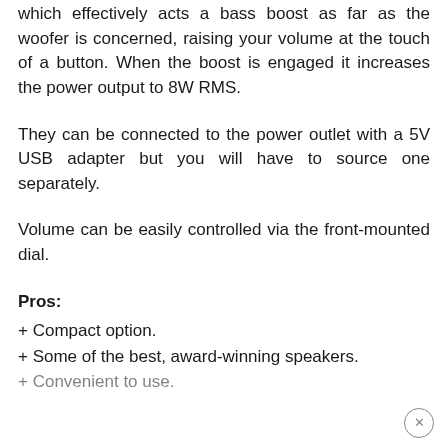which effectively acts a bass boost as far as the woofer is concerned, raising your volume at the touch of a button. When the boost is engaged it increases the power output to 8W RMS.
They can be connected to the power outlet with a 5V USB adapter but you will have to source one separately.
Volume can be easily controlled via the front-mounted dial.
Pros:
+ Compact option.
+ Some of the best, award-winning speakers.
+ Convenient to use.